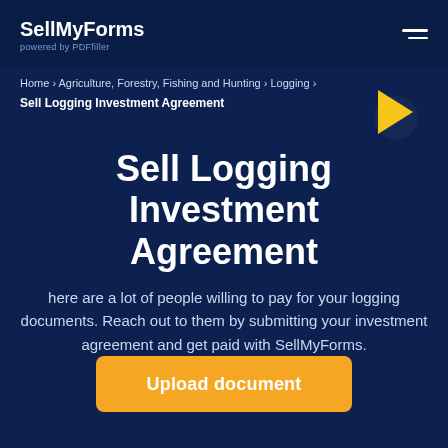SellMyForms powered by PDFfiller
Home › Agriculture, Forestry, Fishing and Hunting › Logging ›
Sell Logging Investment Agreement
Sell Logging Investment Agreement
here are a lot of people willing to pay for your logging documents. Reach out to them by submitting your investment agreement and get paid with SellMyForms.
Upload document